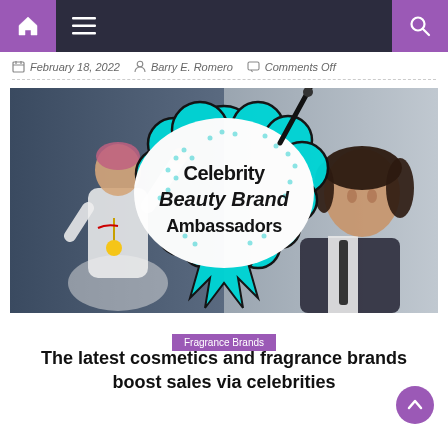Navigation bar with home, menu, and search icons
February 18, 2022  Barry E. Romero  Comments Off
[Figure (illustration): Hero image showing celebrity beauty brand ambassadors — a female soccer player with a gold medal on the left and a male celebrity in a suit on the right, with a pop-art style 'Celebrity Beauty Brand Ambassadors' text burst in the center]
Fragrance Brands
The latest cosmetics and fragrance brands boost sales via celebrities